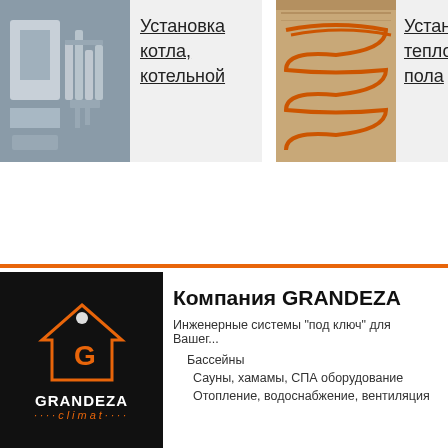[Figure (photo): Photo of boiler room installation with pipes]
Установка котла, котельной
[Figure (photo): Photo of warm floor installation with heating coils]
Установка теплого пола
[Figure (logo): GRANDEZA climat company logo on black background with house icon]
Компания GRANDEZA
Инженерные системы "под ключ" для Вашег...
Бассейны
Сауны, хамамы, СПА оборудование
Отопление, водоснабжение, вентиляция